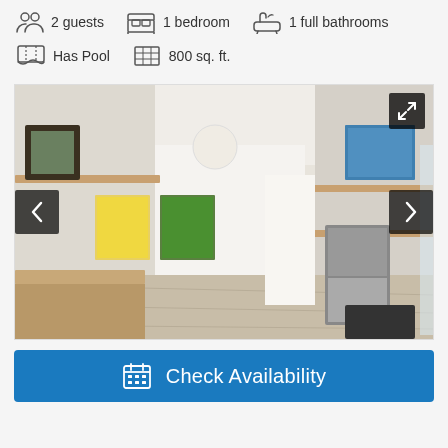2 guests   1 bedroom   1 full bathrooms   Has Pool   800 sq. ft.
[Figure (photo): Interior photo of a modern studio apartment/vacation rental showing a living area with wood shelving, artwork on walls, pendant light, kitchenette with refrigerator, and light wood floors. Navigation arrows on left and right, expand button top-right.]
Check Availability